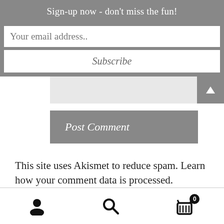Sign-up now - don't miss the fun!
Your email address..
Subscribe
Post Comment
This site uses Akismet to reduce spam. Learn how your comment data is processed.
User icon | Search icon | Cart icon (0)